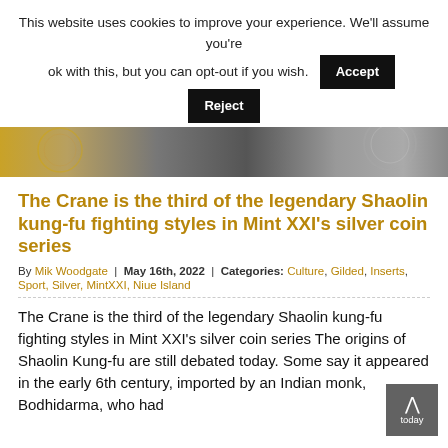This website uses cookies to improve your experience. We'll assume you're ok with this, but you can opt-out if you wish. [Accept] [Reject]
Read More
[Figure (photo): Partial top view of silver/gold coins with decorative patterns]
The Crane is the third of the legendary Shaolin kung-fu fighting styles in Mint XXI's silver coin series
By Mik Woodgate | May 16th, 2022 | Categories: Culture, Gilded, Inserts, Sport, Silver, MintXXI, Niue Island
The Crane is the third of the legendary Shaolin kung-fu fighting styles in Mint XXI's silver coin series The origins of Shaolin Kung-fu are still debated today. Some say it appeared in the early 6th century, imported by an Indian monk, Bodhidarma, who had